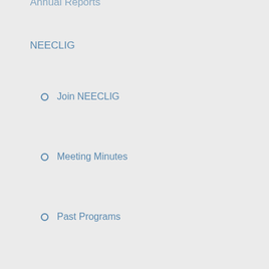Annual Reports (partially visible at top)
NEECLIG
Join NEECLIG
Meeting Minutes
Past Programs
Resources
NELIG
Join Us
Current Leadership
Past Programs
RDSIG